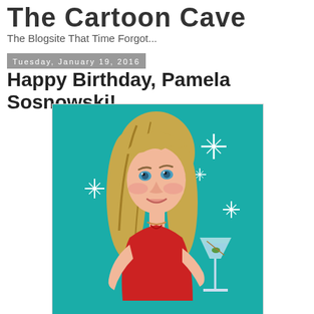The Cartoon Cave
The Blogsite That Time Forgot...
Tuesday, January 19, 2016
Happy Birthday, Pamela Sosnowski!
[Figure (illustration): Cartoon caricature of a blonde woman in a red dress holding a martini glass, on a teal background with sparkle decorations]